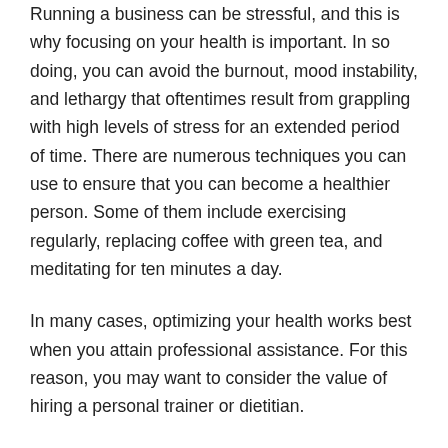Running a business can be stressful, and this is why focusing on your health is important. In so doing, you can avoid the burnout, mood instability, and lethargy that oftentimes result from grappling with high levels of stress for an extended period of time. There are numerous techniques you can use to ensure that you can become a healthier person. Some of them include exercising regularly, replacing coffee with green tea, and meditating for ten minutes a day.
In many cases, optimizing your health works best when you attain professional assistance. For this reason, you may want to consider the value of hiring a personal trainer or dietitian.
If you want to become a better boss, you should get the process underway immediately. Some of the strategies you can implement to get things going include putting safety first, updating your marketing plan, and focusing on your health.